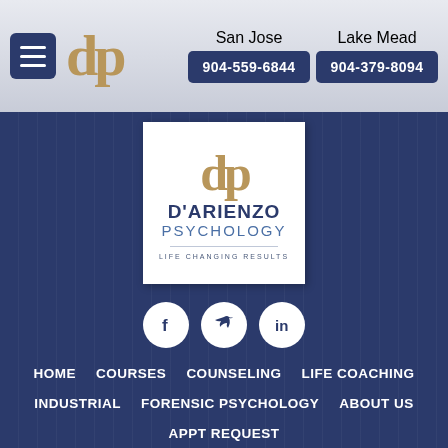San Jose 904-559-6844 | Lake Mead 904-379-8094
[Figure (logo): D'Arienzo Psychology logo with golden dp monogram, dark blue D'ARIENZO PSYCHOLOGY text, and LIFE CHANGING RESULTS tagline]
[Figure (illustration): Social media icons: Facebook, Twitter, LinkedIn in white circles on blue background]
HOME  COURSES  COUNSELING  LIFE COACHING  INDUSTRIAL  FORENSIC PSYCHOLOGY  ABOUT US  APPT REQUEST